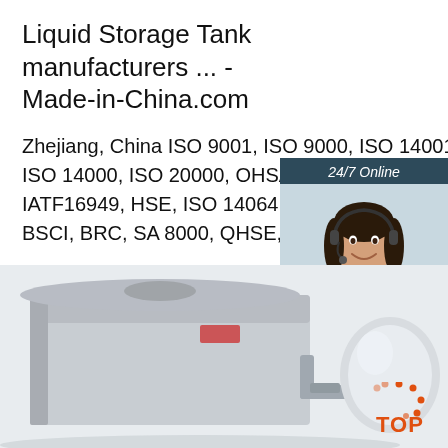Liquid Storage Tank manufacturers ... - Made-in-China.com
Zhejiang, China ISO 9001, ISO 9000, ISO 14001, ISO 14000, ISO 20000, OHSAS OHSMS, IATF16949, HSE, ISO 14064, QC 08000, BSCI, BRC, SA 8000, QHSE, HACCP ..
[Figure (photo): Customer service representative woman wearing headset, with 24/7 Online label, Click here for free chat and QUOTATION button on dark blue background]
[Figure (photo): Industrial liquid storage tanks photographed outdoors, with TOP logo overlay in bottom right]
Get Price